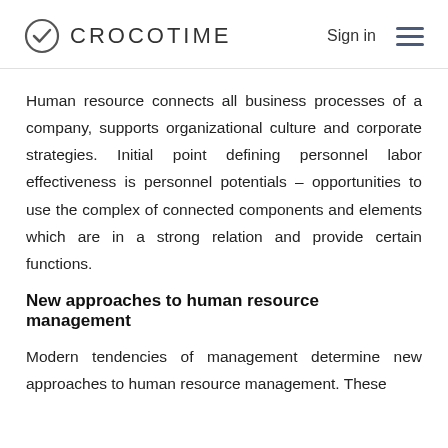CROCOTIME  Sign in
Human resource connects all business processes of a company, supports organizational culture and corporate strategies. Initial point defining personnel labor effectiveness is personnel potentials – opportunities to use the complex of connected components and elements which are in a strong relation and provide certain functions.
New approaches to human resource management
Modern tendencies of management determine new approaches to human resource management. These